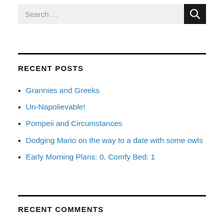[Figure (other): Search bar with text field showing 'Search ...' and a dark button with magnifying glass icon]
RECENT POSTS
Grannies and Greeks
Un-Napolievable!
Pompeii and Circumstances
Dodging Mario on the way to a date with some owls
Early Morning Plans: 0, Comfy Bed: 1
RECENT COMMENTS